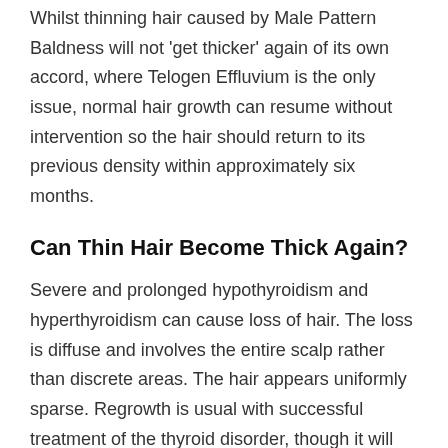Whilst thinning hair caused by Male Pattern Baldness will not 'get thicker' again of its own accord, where Telogen Effluvium is the only issue, normal hair growth can resume without intervention so the hair should return to its previous density within approximately six months.
Can Thin Hair Become Thick Again?
Severe and prolonged hypothyroidism and hyperthyroidism can cause loss of hair. The loss is diffuse and involves the entire scalp rather than discrete areas. The hair appears uniformly sparse. Regrowth is usual with successful treatment of the thyroid disorder, though it will take several months